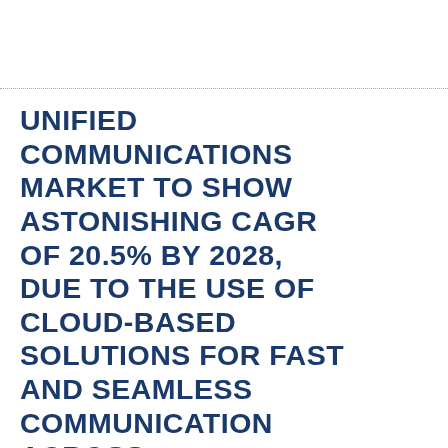UNIFIED COMMUNICATIONS MARKET TO SHOW ASTONISHING CAGR OF 20.5% BY 2028, DUE TO THE USE OF CLOUD-BASED SOLUTIONS FOR FAST AND SEAMLESS COMMUNICATION ACROSS ENTERPRISES | GRAND VIEW RESEARCH, INC.
Unified Communications Market To Show